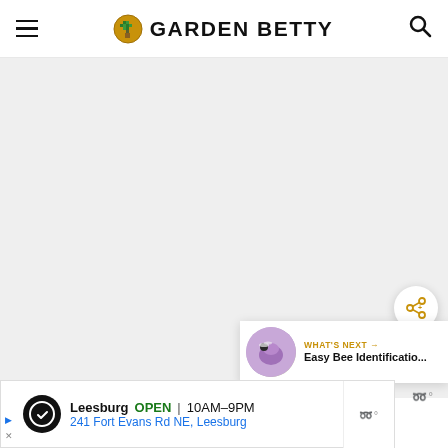Garden Betty
[Figure (photo): Large light gray placeholder image area representing a photo on the Garden Betty website]
[Figure (other): Share button - circular white button with share/add icon]
WHAT'S NEXT → Easy Bee Identificatio...
[Figure (photo): Thumbnail of bee on purple flower for 'Easy Bee Identification' article]
Leesburg OPEN 10AM–9PM 241 Fort Evans Rd NE, Leesburg